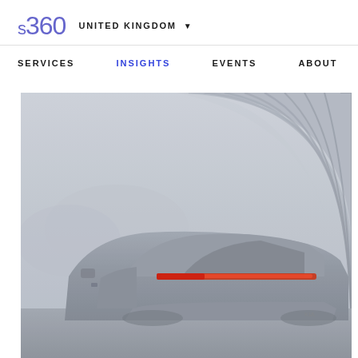s360  UNITED KINGDOM ▼
SERVICES   INSIGHTS   EVENTS   ABOUT
[Figure (photo): Rear three-quarter view of a silver/grey modern electric SUV (Kia EV) positioned under a large curved ribbed concrete or metallic tunnel/arch structure, with misty mountains visible in the background. The car's distinctive red LED taillight strip is visible. The image has a cool, muted, slightly foggy atmosphere.]